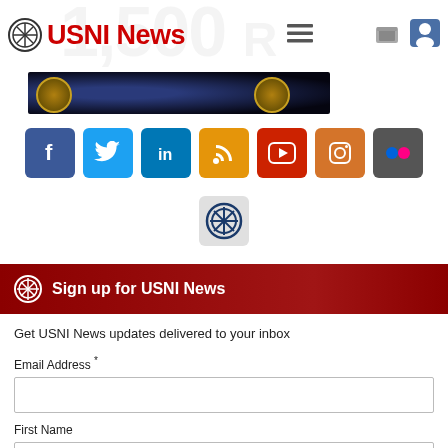USNI News
[Figure (screenshot): Dark banner image with circular emblem/badge on dark space-like background]
[Figure (infographic): Row of social media icon buttons: Facebook, Twitter, LinkedIn, RSS, YouTube, Instagram, Flickr, and USNI logo]
Sign up for USNI News
Get USNI News updates delivered to your inbox
Email Address *
First Name
Friend of the Naval Institute